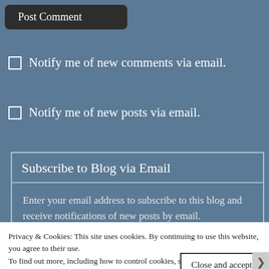Post Comment
Notify me of new comments via email.
Notify me of new posts via email.
Subscribe to Blog via Email
Enter your email address to subscribe to this blog and receive notifications of new posts by email.
Privacy & Cookies: This site uses cookies. By continuing to use this website, you agree to their use.
To find out more, including how to control cookies, see here:
Cookie Policy
Close and accept